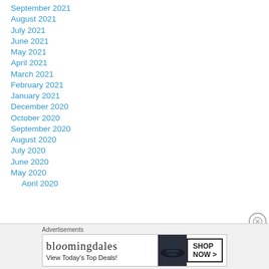September 2021
August 2021
July 2021
June 2021
May 2021
April 2021
March 2021
February 2021
January 2021
December 2020
October 2020
September 2020
August 2020
July 2020
June 2020
May 2020
April 2020
[Figure (screenshot): Bloomingdale's advertisement banner with text 'View Today's Top Deals!' and 'SHOP NOW >' button, and a woman wearing a large dark hat]